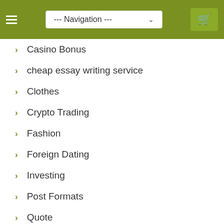Navigation
Casino Bonus
cheap essay writing service
Clothes
Crypto Trading
Fashion
Foreign Dating
Investing
Post Formats
Quote
Russian Girls
Shoes
Social Media
Sport
Uncategorized